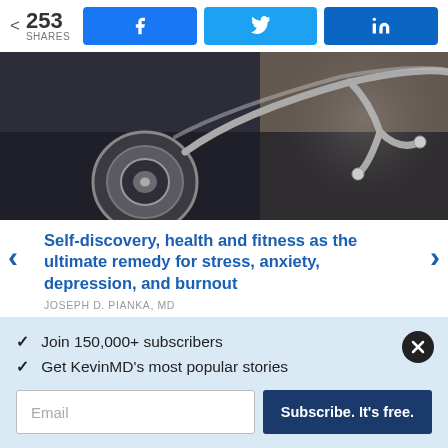253 SHARES
[Figure (photo): Close-up photograph of a stethoscope on a dark surface with warm light on the right side]
Self-discovery, health and fitness as the ultimate remedy for stress, anxiety, depression, and burnout
JOSEPH D. PIANKA, MD
✓ Join 150,000+ subscribers
✓ Get KevinMD's most popular stories
Email | Subscribe. It's free.